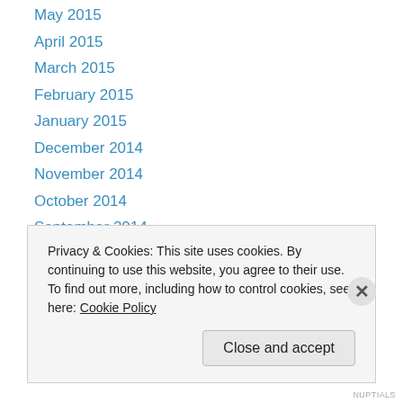May 2015
April 2015
March 2015
February 2015
January 2015
December 2014
November 2014
October 2014
September 2014
August 2014
November 2013
October 2013
April 2013
Privacy & Cookies: This site uses cookies. By continuing to use this website, you agree to their use.
To find out more, including how to control cookies, see here: Cookie Policy
Close and accept
NUPTIALS